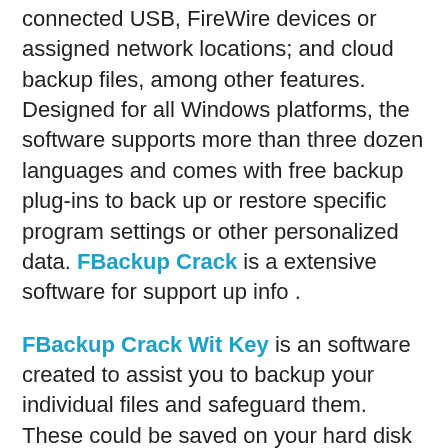connected USB, FireWire devices or assigned network locations; and cloud backup files, among other features. Designed for all Windows platforms, the software supports more than three dozen languages and comes with free backup plug-ins to back up or restore specific program settings or other personalized data. FBackup Crack is a extensive software for support up info .
FBackup Crack Wit Key is an software created to assist you to backup your individual files and safeguard them. These could be saved on your hard disk drives or on the local system. FBackup Latest Version has a easy software and is able of backing up audio instantly and at specific times, and additionally facilitates back-up data compression and password positioning. The application additional enables you to determine how frequently the